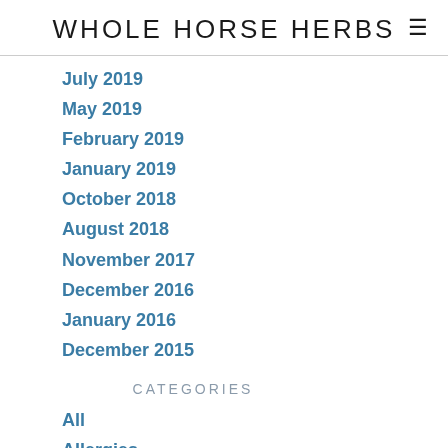WHOLE HORSE HERBS ≡
July 2019
May 2019
February 2019
January 2019
October 2018
August 2018
November 2017
December 2016
January 2016
December 2015
CATEGORIES
All
Allergies
Calming
Calming Dogs